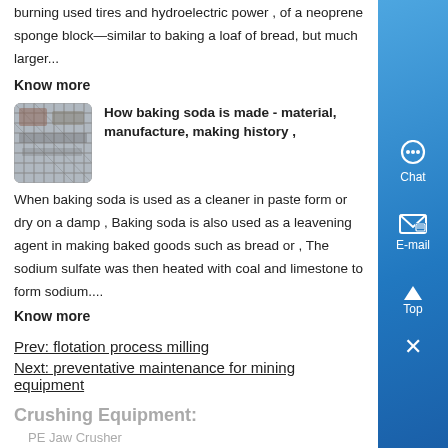burning used tires and hydroelectric power , of a neoprene sponge block—similar to baking a loaf of bread, but much larger...
Know more
[Figure (photo): Photo of industrial metal equipment/grating structure]
How baking soda is made - material, manufacture, making history ,
When baking soda is used as a cleaner in paste form or dry on a damp , Baking soda is also used as a leavening agent in making baked goods such as bread or , The sodium sulfate was then heated with coal and limestone to form sodium....
Know more
Prev: flotation process milling
Next: preventative maintenance for mining equipment
Crushing Equipment:
PE Jaw Crusher